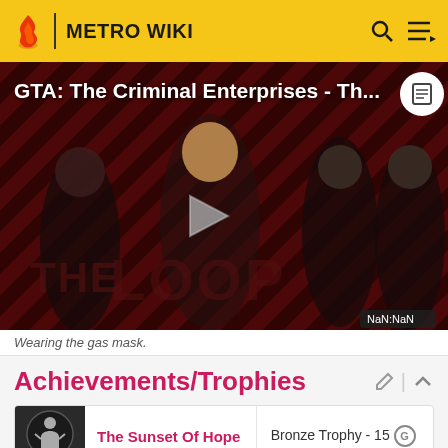METRO WIKI
[Figure (screenshot): Video thumbnail for GTA: The Criminal Enterprises - Th... showing characters on a red and black striped background with THE LOOP text, a play button in the center, and NaN:NaN timestamp]
Wearing the gas mask.
Achievements/Trophies
| Icon | Name | Type |
| --- | --- | --- |
| [icon] | The Sunset Of Hope | Bronze Trophy - 15 |